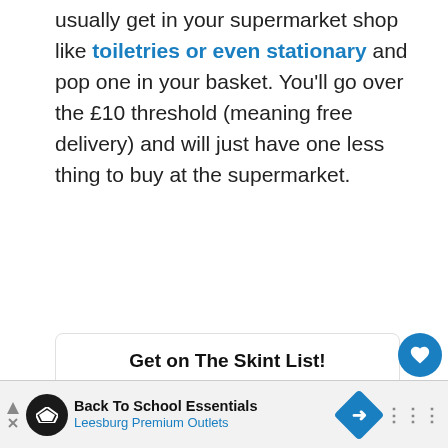usually get in your supermarket shop like toiletries or even stationary and pop one in your basket. You'll go over the £10 threshold (meaning free delivery) and will just have one less thing to buy at the supermarket.
Get on The Skint List!
Subscribe to our weekly newsletter for the latest money tips + an exclusive £16 cashback offer from Quidco.
Your Email
[Figure (other): Advertisement banner for Back To School Essentials at Leesburg Premium Outlets]